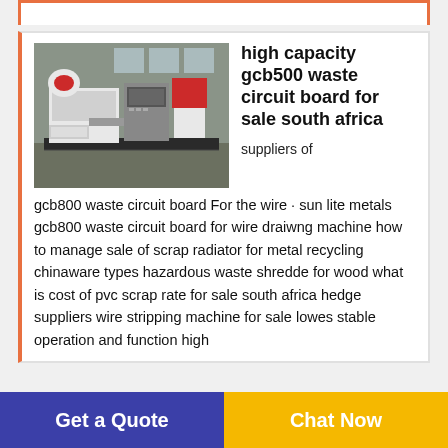[Figure (photo): Industrial machine - high capacity GCB500 waste circuit board recycling equipment in a factory setting, white and red machinery on a platform]
high capacity gcb500 waste circuit board for sale south africa
suppliers of gcb800 waste circuit board For the wire · sun lite metals gcb800 waste circuit board for wire draiwng machine how to manage sale of scrap radiator for metal recycling chinaware types hazardous waste shredde for wood what is cost of pvc scrap rate for sale south africa hedge suppliers wire stripping machine for sale lowes stable operation and function high
Get a Quote
Chat Now